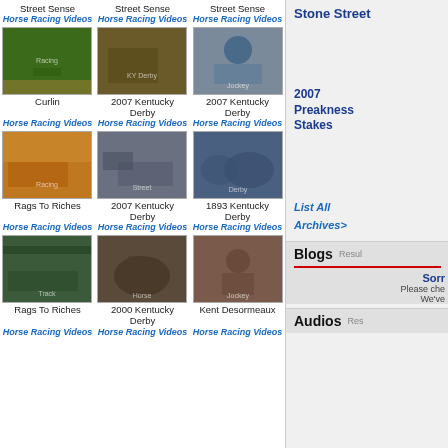Street Sense
Street Sense
Street Sense
Horse Racing Videos
Horse Racing Videos
Horse Racing Videos
[Figure (photo): Horse racing thumbnail - Curlin]
[Figure (photo): Horse racing thumbnail - 2007 Kentucky Derby]
[Figure (photo): Horse racing jockey photo - 2007 Kentucky Derby]
Curlin
2007 Kentucky Derby
2007 Kentucky Derby
Horse Racing Videos
Horse Racing Videos
Horse Racing Videos
[Figure (photo): Horse racing thumbnail - Rags To Riches]
[Figure (photo): Street scene thumbnail - 2007 Kentucky Derby]
[Figure (photo): Horse racing thumbnail - 1893 Kentucky Derby]
Rags To Riches
2007 Kentucky Derby
1893 Kentucky Derby
Horse Racing Videos
Horse Racing Videos
Horse Racing Videos
[Figure (photo): Horse racing scoreboard thumbnail - Rags To Riches]
[Figure (photo): Horse standing photo - 2000 Kentucky Derby]
[Figure (photo): Jockey photo - Kent Desormeaux]
Rags To Riches
2000 Kentucky Derby
Kent Desormeaux
Horse Racing Videos
Horse Racing Videos
Horse Racing Videos
Stone Street
2007 Preakness Stakes
List All Archives>
Blogs
Sorry
Please che... We've...
Audios